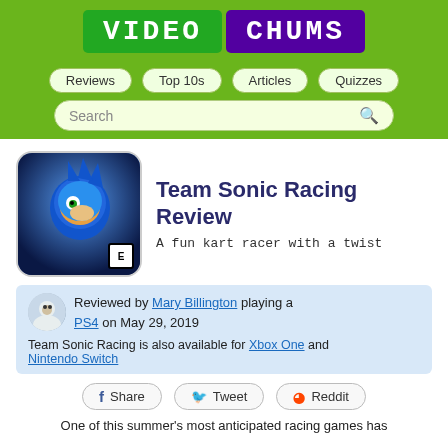[Figure (logo): Video Chums logo with green VIDEO block and purple CHUMS block on green background]
Reviews | Top 10s | Articles | Quizzes | Search
[Figure (photo): Team Sonic Racing game cover art showing Sonic the Hedgehog with ESRB E rating badge]
Team Sonic Racing Review
A fun kart racer with a twist
Reviewed by Mary Billington playing a PS4 on May 29, 2019
Team Sonic Racing is also available for Xbox One and Nintendo Switch
Share  Tweet  Reddit
One of this summer's most anticipated racing games has